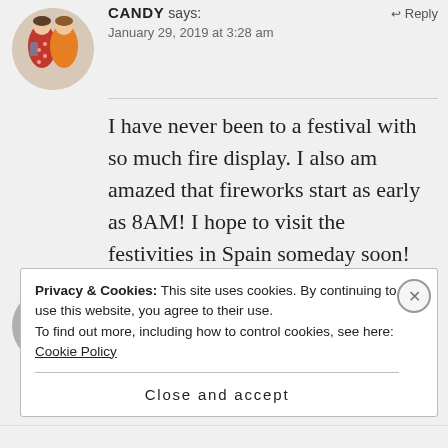[Figure (photo): Circular avatar photo of two women in red and colorful dresses]
CANDY says:
↩ Reply
January 29, 2019 at 3:28 am
I have never been to a festival with so much fire display. I also am amazed that fireworks start as early as 8AM! I hope to visit the festivities in Spain someday soon!
★ Like
SUSANNE JUNGRUTH says: ↩ Reply
Privacy & Cookies: This site uses cookies. By continuing to use this website, you agree to their use.
To find out more, including how to control cookies, see here: Cookie Policy
Close and accept